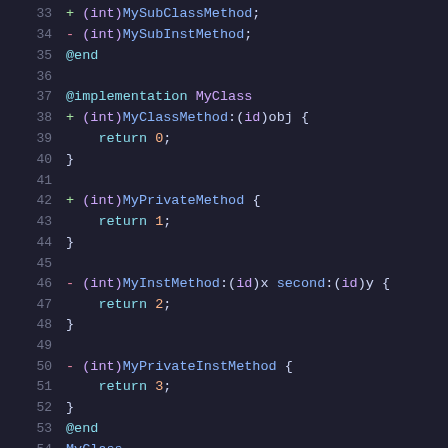[Figure (screenshot): Objective-C source code snippet showing lines 33-54, with syntax highlighting on a dark background. Lines include class method declarations with +/- prefixes, @end, @implementation MyClass, and method bodies returning 0, 1, 2, 3.]